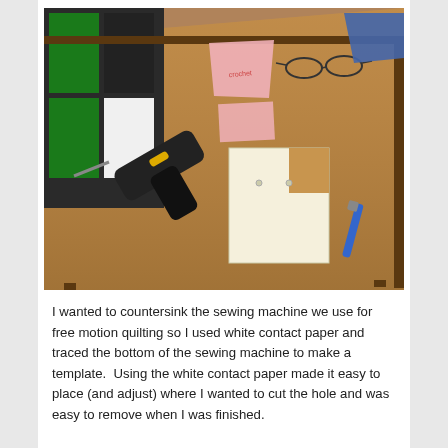[Figure (photo): A brown table viewed from above at an angle. On the table is a black cordless drill on the left, a cream/white paper template in the shape of a sewing machine bottom in the center, a blue screwdriver/pen on the right, and pink paper pieces and glasses in the upper area. In the background is a room divider with green and black panels.]
I wanted to countersink the sewing machine we use for free motion quilting so I used white contact paper and traced the bottom of the sewing machine to make a template.  Using the white contact paper made it easy to place (and adjust) where I wanted to cut the hole and was easy to remove when I was finished.